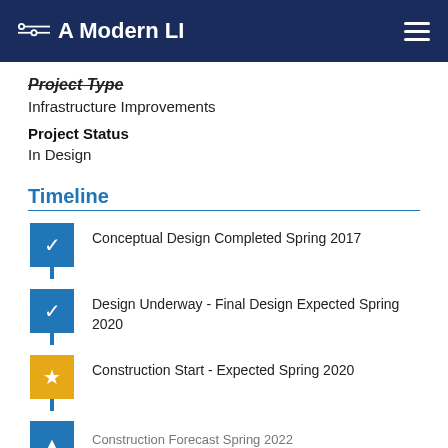A Modern LI
Project Type
Infrastructure Improvements
Project Status
In Design
Timeline
Conceptual Design Completed Spring 2017
Design Underway - Final Design Expected Spring 2020
Construction Start - Expected Spring 2020
Construction Forecast Spring 2022